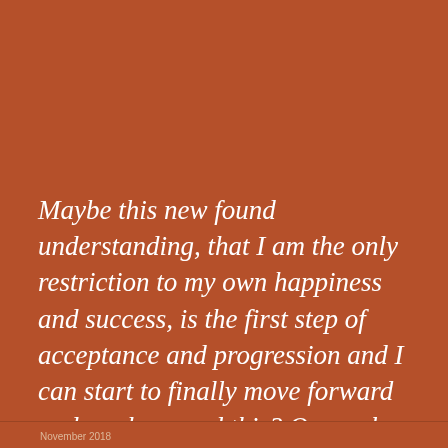Maybe this new found understanding, that I am the only restriction to my own happiness and success, is the first step of acceptance and progression and I can start to finally move forward and work around this? Or maybe this new found understanding of the mess that's in my head is finally confirmation that I'm crazy?!
Privacy & Cookies: This site uses cookies. By continuing to use this website, you agree to their use. To find out more, including how to control cookies, see here: Cookie Policy
Close and accept